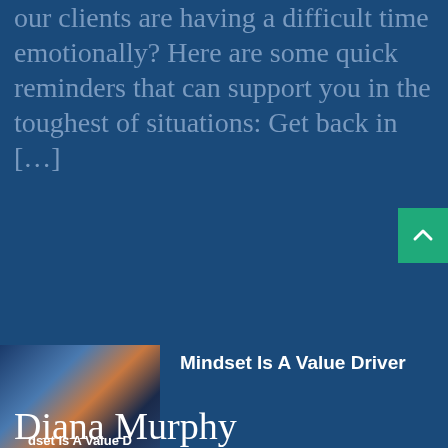our clients are having a difficult time emotionally? Here are some quick reminders that can support you in the toughest of situations: Get back in [...]
Mindset Is A Value Driver
Turning Cues Into Action
Diana Murphy